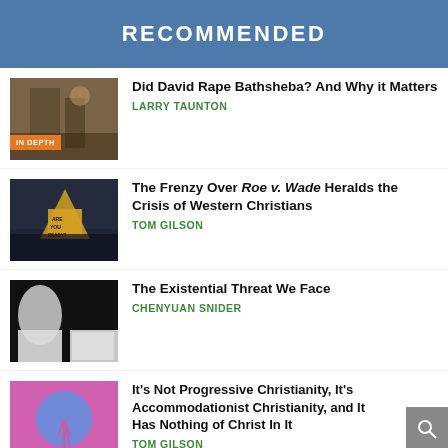RECOMMENDED
Did David Rape Bathsheba? And Why it Matters — LARRY TAUNTON
The Frenzy Over Roe v. Wade Heralds the Crisis of Western Christians — TOM GILSON
The Existential Threat We Face — CHENYUAN SNIDER
It's Not Progressive Christianity, It's Accommodationist Christianity, and It Has Nothing of Christ In It — TOM GILSON
She Knew What to Say to Post-Abortive Women